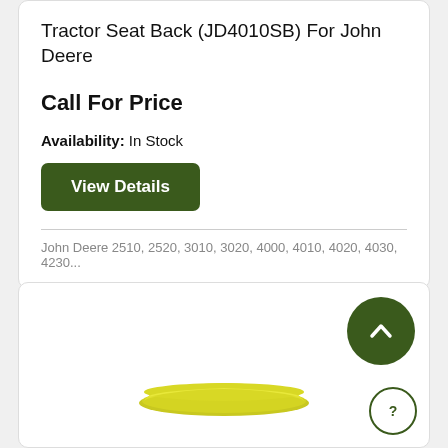Tractor Seat Back (JD4010SB) For John Deere
Call For Price
Availability: In Stock
View Details
John Deere 2510, 2520, 3010, 3020, 4000, 4010, 4020, 4030, 4230...
[Figure (photo): Yellow curved tractor seat cushion part shown from above against white background]